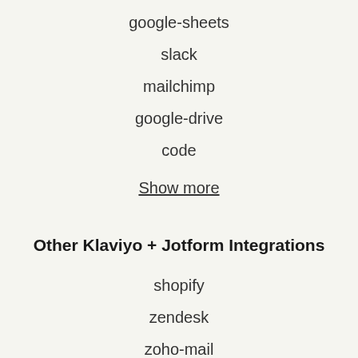google-sheets
slack
mailchimp
google-drive
code
Show more
Other Klaviyo + Jotform Integrations
shopify
zendesk
zoho-mail
webhook
trello
Show more